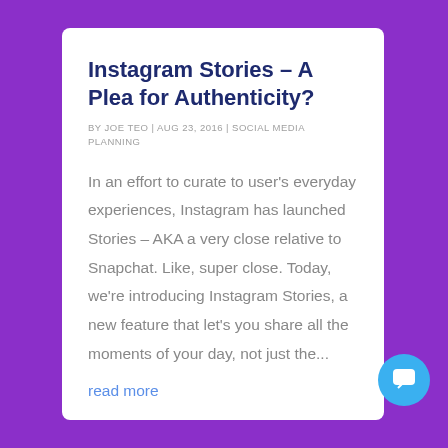Instagram Stories – A Plea for Authenticity?
BY JOE TEO | AUG 23, 2016 | SOCIAL MEDIA PLANNING
In an effort to curate to user's everyday experiences, Instagram has launched Stories – AKA a very close relative to Snapchat. Like, super close. Today, we're introducing Instagram Stories, a new feature that let's you share all the moments of your day, not just the...
read more